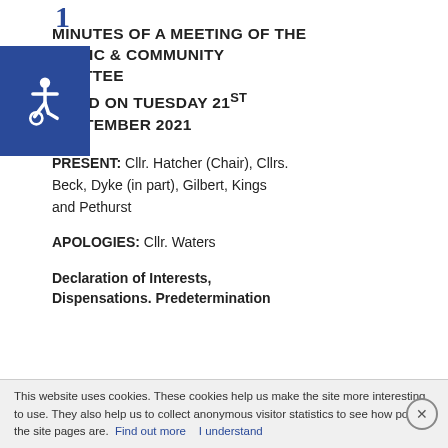MINUTES OF A MEETING OF THE ECONOMIC & COMMUNITY COMMITTEE HELD ON TUESDAY 21st SEPTEMBER 2021
[Figure (illustration): Accessibility icon - white wheelchair symbol on dark blue background]
PRESENT: Cllr. Hatcher (Chair), Cllrs. Beck, Dyke (in part), Gilbert, Kings and Pethurst
APOLOGIES: Cllr. Waters
Declaration of Interests, Dispensations. Predetermination or Lobbying
This website uses cookies. These cookies help us make the site more interesting to use. They also help us to collect anonymous visitor statistics to see how popular the site pages are. Find out more   I understand